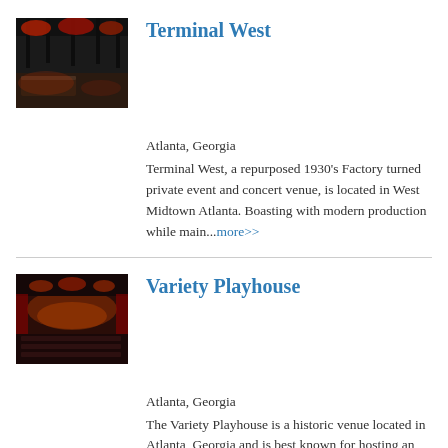[Figure (photo): Interior of Terminal West venue with red lighting and industrial ceiling]
Terminal West
Atlanta, Georgia
Terminal West, a repurposed 1930's Factory turned private event and concert venue, is located in West Midtown Atlanta. Boasting with modern production while main...more>>
[Figure (photo): Interior of Variety Playhouse venue with warm stage lighting and red decor]
Variety Playhouse
Atlanta, Georgia
The Variety Playhouse is a historic venue located in Atlanta, Georgia and is best known for hosting an array of special events. From